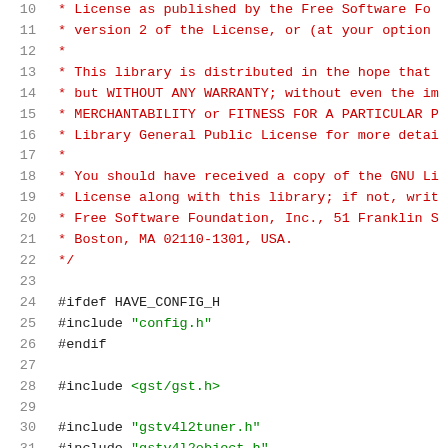Source code listing showing lines 10-31 of a C file with GPL license header and include directives
10:  * License as published by the Free Software Fo
11:  * version 2 of the License, or (at your option
12:  *
13:  * This library is distributed in the hope that
14:  * but WITHOUT ANY WARRANTY; without even the im
15:  * MERCHANTABILITY or FITNESS FOR A PARTICULAR P
16:  * Library General Public License for more detai
17:  *
18:  * You should have received a copy of the GNU Li
19:  * License along with this library; if not, writ
20:  * Free Software Foundation, Inc., 51 Franklin S
21:  * Boston, MA 02110-1301, USA.
22:  */
23:
24: #ifdef HAVE_CONFIG_H
25: #include "config.h"
26: #endif
27:
28: #include <gst/gst.h>
29:
30: #include "gstv4l2tuner.h"
31: #include "gstv4l2object.h"